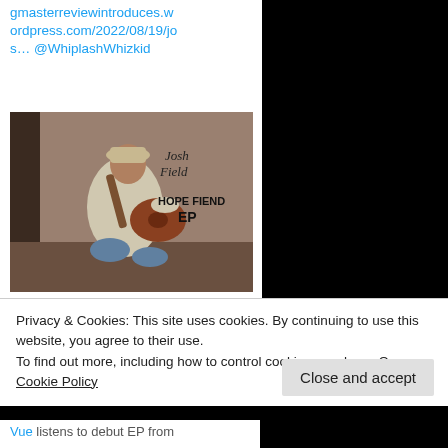gmasterreviewintroduces.wordpress.com/2022/08/19/jos… @WhiplashWhizkid
[Figure (photo): Album cover for Josh Field – Hope Fiend EP, showing a man sitting and playing acoustic guitar, wearing a hat and white shirt, with text 'Josh Field HOPE FIEND EP' overlay]
ringmasterreviewintroduce…
Josh Field – Hope Fiend EP
Privacy & Cookies: This site uses cookies. By continuing to use this website, you agree to their use.
To find out more, including how to control cookies, see here: Our Cookie Policy
Close and accept
Vue listens to debut EP from